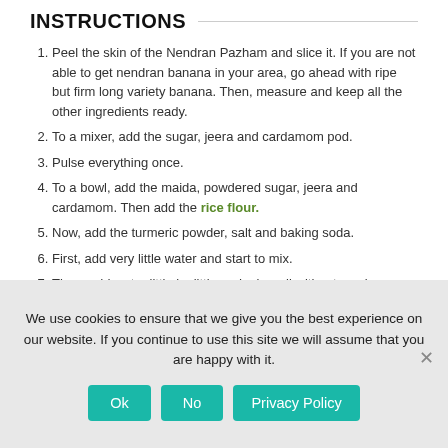INSTRUCTIONS
Peel the skin of the Nendran Pazham and slice it. If you are not able to get nendran banana in your area, go ahead with ripe but firm long variety banana. Then, measure and keep all the other ingredients ready.
To a mixer, add the sugar, jeera and cardamom pod.
Pulse everything once.
To a bowl, add the maida, powdered sugar, jeera and cardamom. Then add the rice flour.
Now, add the turmeric powder, salt and baking soda.
First, add very little water and start to mix.
Then, add water little by little and mix well without any lumps
We use cookies to ensure that we give you the best experience on our website. If you continue to use this site we will assume that you are happy with it.